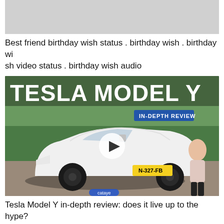[Figure (screenshot): Gray placeholder image at top of page]
Best friend birthday wish status . birthday wish . birthday wish video status . birthday wish audio
[Figure (screenshot): Tesla Model Y in-depth review video thumbnail showing a white Tesla Model Y SUV with Dutch license plate N-327-FB, a woman standing beside it, trees in background, large text 'TESLA MODEL Y' and badge 'IN-DEPTH REVIEW', play button overlay, cataye branding]
Tesla Model Y in-depth review: does it live up to the hype?
[Figure (screenshot): Video game screenshot showing level 18 HUD with health/progress bar, colorful bird/character on green background]